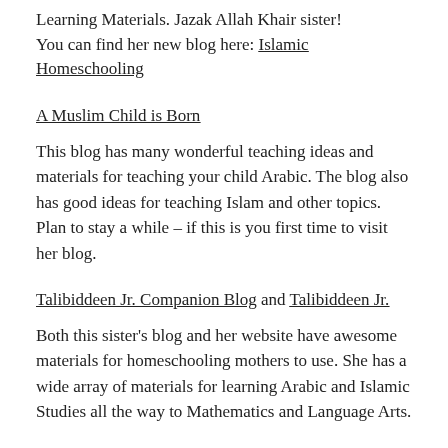Learning Materials. Jazak Allah Khair sister!
You can find her new blog here: Islamic Homeschooling
A Muslim Child is Born
This blog has many wonderful teaching ideas and materials for teaching your child Arabic. The blog also has good ideas for teaching Islam and other topics. Plan to stay a while – if this is you first time to visit her blog.
Talibiddeen Jr. Companion Blog and Talibiddeen Jr.
Both this sister's blog and her website have awesome materials for homeschooling mothers to use. She has a wide array of materials for learning Arabic and Islamic Studies all the way to Mathematics and Language Arts.